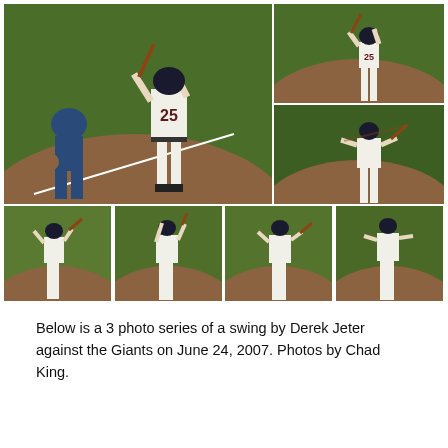[Figure (photo): Collage of 7 baseball photos showing a batter (number 25) in various stages of a swing at a baseball game, with a catcher visible in the large left photo. Photos arranged in a grid: one large photo on the top-left, two stacked on the top-right, and four equal photos along the bottom.]
Below is a 3 photo series of a swing by Derek Jeter against the Giants on June 24, 2007. Photos by Chad King.